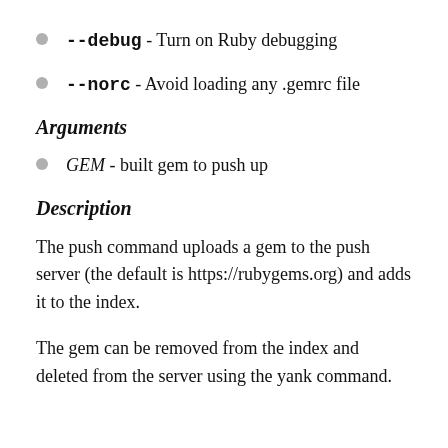--debug - Turn on Ruby debugging
--norc - Avoid loading any .gemrc file
Arguments
GEM - built gem to push up
Description
The push command uploads a gem to the push server (the default is https://rubygems.org) and adds it to the index.
The gem can be removed from the index and deleted from the server using the yank command.